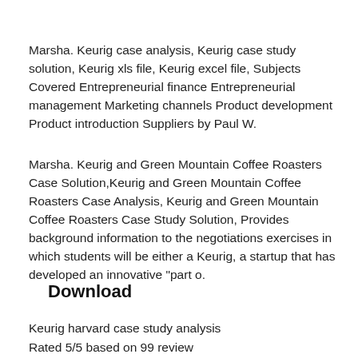Marsha. Keurig case analysis, Keurig case study solution, Keurig xls file, Keurig excel file, Subjects Covered Entrepreneurial finance Entrepreneurial management Marketing channels Product development Product introduction Suppliers by Paul W.
Marsha. Keurig and Green Mountain Coffee Roasters Case Solution,Keurig and Green Mountain Coffee Roasters Case Analysis, Keurig and Green Mountain Coffee Roasters Case Study Solution, Provides background information to the negotiations exercises in which students will be either a Keurig, a startup that has developed an innovative "part o.
Download
Keurig harvard case study analysis
Rated 5/5 based on 99 review